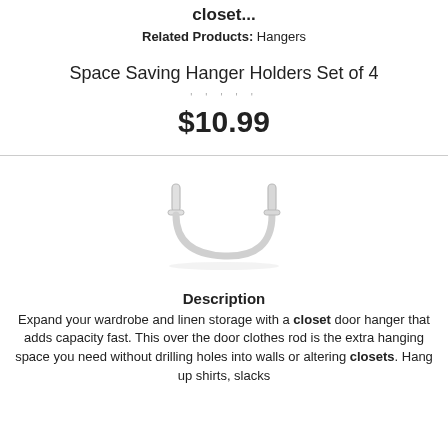closet...
Related Products: Hangers
Space Saving Hanger Holders Set of 4
$10.99
[Figure (photo): A white over-the-door closet hanger rod/hook product shown on white background]
Description
Expand your wardrobe and linen storage with a closet door hanger that adds capacity fast. This over the door clothes rod is the extra hanging space you need without drilling holes into walls or altering closets. Hang up shirts, slacks